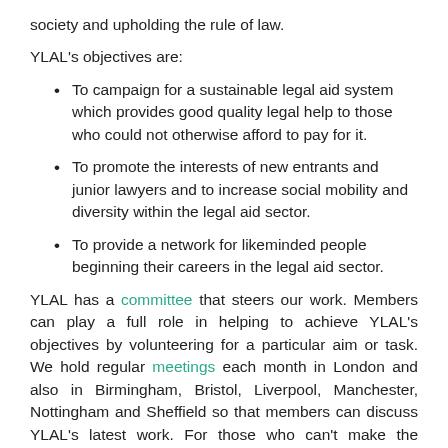society and upholding the rule of law.
YLAL's objectives are:
To campaign for a sustainable legal aid system which provides good quality legal help to those who could not otherwise afford to pay for it.
To promote the interests of new entrants and junior lawyers and to increase social mobility and diversity within the legal aid sector.
To provide a network for likeminded people beginning their careers in the legal aid sector.
YLAL has a committee that steers our work. Members can play a full role in helping to achieve YLAL's objectives by volunteering for a particular aim or task. We hold regular meetings each month in London and also in Birmingham, Bristol, Liverpool, Manchester, Nottingham and Sheffield so that members can discuss YLAL's latest work. For those who can't make the meetings, minutes are sent out shortly afterwards to keep members updated.
We work closely with other groups who share some, or all of